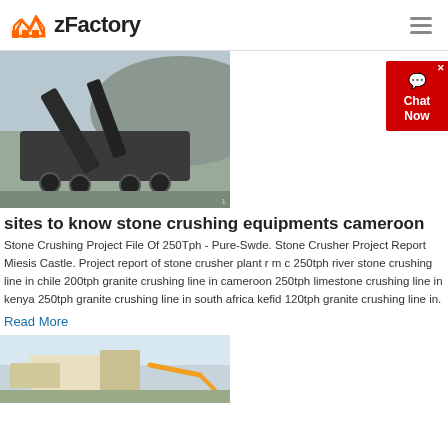zFactory
[Figure (photo): Mobile stone crushing equipment/plant at a quarry site, on wheeled trailer with conveyor belts, set against a rocky hillside background.]
sites to know stone crushing equipments cameroon
Stone Crushing Project File Of 250Tph - Pure-Swde. Stone Crusher Project Report Miesis Castle. Project report of stone crusher plant r m c 250tph river stone crushing line in chile 200tph granite crushing line in cameroon 250tph limestone crushing line in kenya 250tph granite crushing line in south africa kefid 120tph granite crushing line in.
Read More
[Figure (photo): Large yellow and white industrial stone crushing machinery/equipment at a construction or quarry site.]